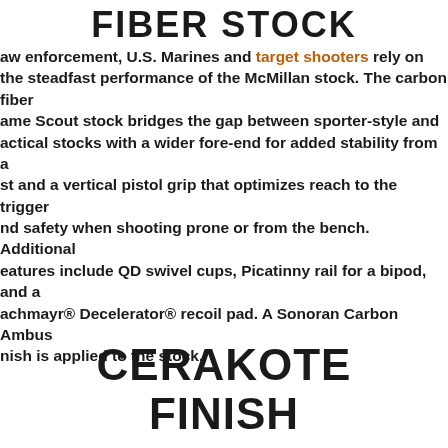FIBER STOCK
law enforcement, U.S. Marines and target shooters rely on the steadfast performance of the McMillan stock. The carbon fiber Game Scout stock bridges the gap between sporter-style and tactical stocks with a wider fore-end for added stability from a rest and a vertical pistol grip that optimizes reach to the trigger and safety when shooting prone or from the bench. Additional features include QD swivel cups, Picatinny rail for a bipod, and a Pachmayr® Decelerator® recoil pad. A Sonoran Carbon Ambush finish is applied to the stock.
CERAKOTE FINISH